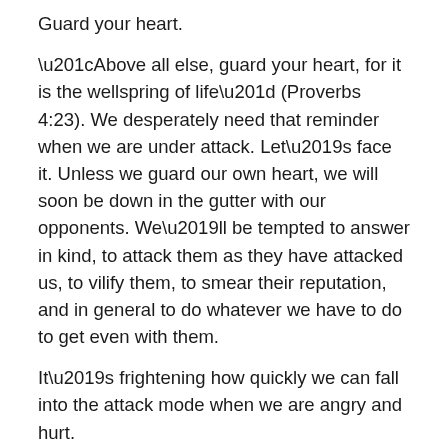Guard your heart.
“Above all else, guard your heart, for it is the wellspring of life” (Proverbs 4:23). We desperately need that reminder when we are under attack. Let’s face it. Unless we guard our own heart, we will soon be down in the gutter with our opponents. We’ll be tempted to answer in kind, to attack them as they have attacked us, to vilify them, to smear their reputation, and in general to do whatever we have to do to get even with them.
It’s frightening how quickly we can fall into the attack mode when we are angry and hurt.
Remember this. You can’t control what people do to you or what they say about you. In the Internet age, anyone with a computer can make any sort of ugly attack, post it on the Internet and hide behind a cloak of anonymity. Technology